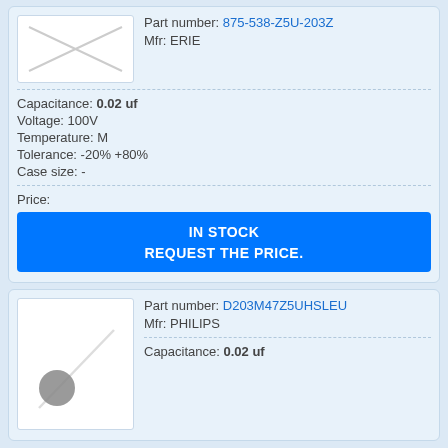[Figure (photo): Electronic component image placeholder with diagonal line (no image available)]
Part number: 875-538-Z5U-203Z
Mfr: ERIE
Capacitance: 0.02 uf
Voltage: 100V
Temperature: M
Tolerance: -20% +80%
Case size: -
Price:
IN STOCK
REQUEST THE PRICE.
[Figure (photo): Electronic capacitor component image with gray disk and two leads on white background]
Part number: D203M47Z5UHSLEU
Mfr: PHILIPS
Capacitance: 0.02 uf